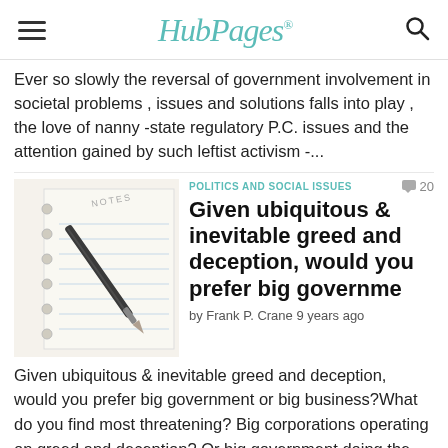HubPages
Ever so slowly the reversal of government involvement in societal problems , issues and solutions falls into play , the love of nanny -state regulatory P.C. issues and the attention gained by such leftist activism -...
[Figure (photo): Photo of a spiral-bound notes notebook with a pen resting on it]
POLITICS AND SOCIAL ISSUES
Given ubiquitous & inevitable greed and deception, would you prefer big governme
by Frank P. Crane 9 years ago
Given ubiquitous & inevitable greed and deception, would you prefer big government or big business?What do you find most threatening? Big corporations operating on greed and deception? Or big government doing the same?